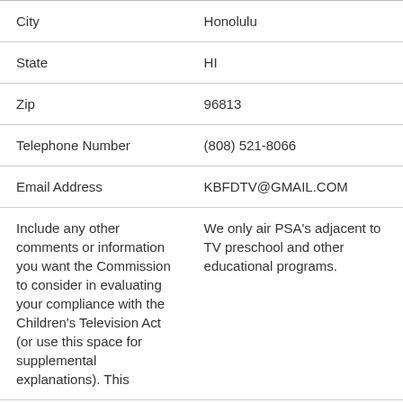| City | Honolulu |
| State | HI |
| Zip | 96813 |
| Telephone Number | (808) 521-8066 |
| Email Address | KBFDTV@GMAIL.COM |
| Include any other comments or information you want the Commission to consider in evaluating your compliance with the Children's Television Act (or use this space for supplemental explanations). This | We only air PSA's adjacent to TV preschool and other educational programs. |